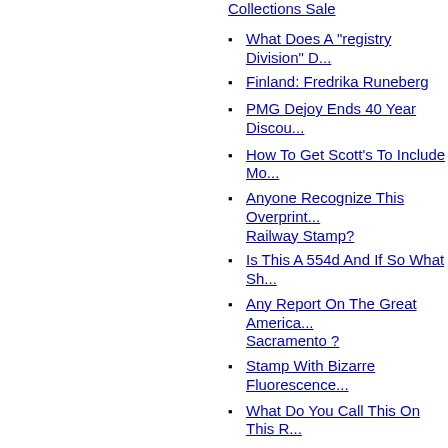Collections Sale
What Does A "registry Division" D...
Finland: Fredrika Runeberg
PMG Dejoy Ends 40 Year Discou...
How To Get Scott's To Include Mo...
Anyone Recognize This Overprint... Railway Stamp?
Is This A 554d And If So What Sh...
Any Report On The Great America... Sacramento ?
Stamp With Bizarre Fluorescence...
What Do You Call This On This R...
End Date For Stampless Usage I...
1851 1c Franklin.help Identifying T...
Las Vegas Stamp Show October?
Help Identifying Stamp
Scott 114 Without Grill (?)
Sc 1885 Stamp With Illin... Th...